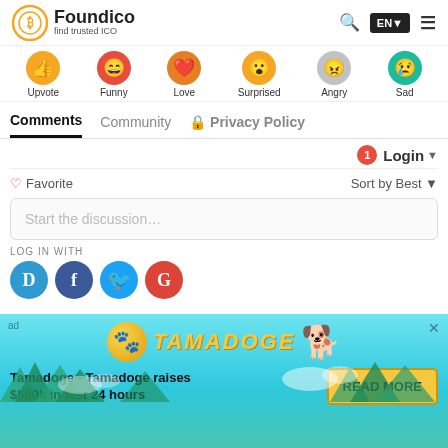Foundico - find trusted ICO
[Figure (infographic): Row of reaction emoji icons labeled: Upvote, Funny, Love, Surprised, Angry, Sad]
Comments | Community | Privacy Policy
Login ▾
♡ Favorite    Sort by Best ▾
Start the discussion…
LOG IN WITH
[Figure (infographic): Social login icons: Disqus (D), Facebook (f), Twitter bird, Google (G)]
[Figure (infographic): Advertisement banner for Tamadoge with text: Tamadoge - Tamadoge raises $500k in last 24 hours, and a READ MORE button]